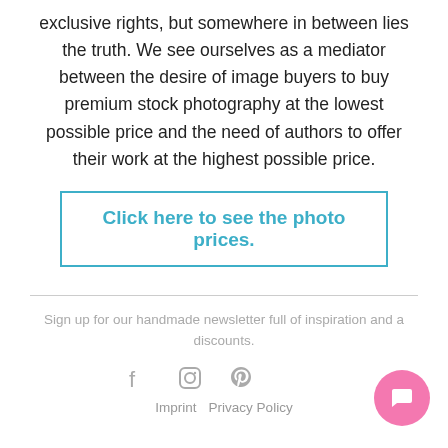exclusive rights, but somewhere in between lies the truth. We see ourselves as a mediator between the desire of image buyers to buy premium stock photography at the lowest possible price and the need of authors to offer their work at the highest possible price.
Click here to see the photo prices.
Sign up for our handmade newsletter full of inspiration and a discounts.
[Figure (illustration): Social media icons: Facebook, Instagram, Pinterest]
[Figure (illustration): Pink chat bubble button with white speech bubble icon]
Imprint   Privacy Policy